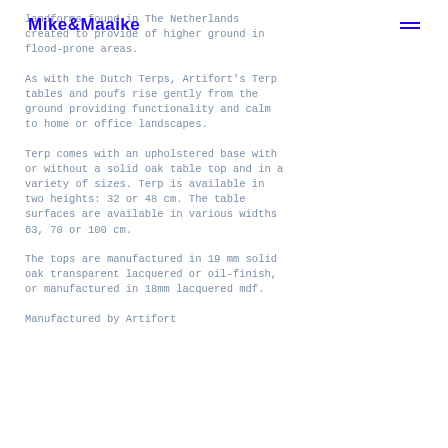Mike&Maaike
landforms found in The Netherlands created to provide of higher ground in flood-prone areas.
As with the Dutch Terps, Artifort's Terp tables and poufs rise gently from the ground providing functionality and calm to home or office landscapes.
Terp comes with an upholstered base with or without a solid oak table top and in a variety of sizes. Terp is available in two heights: 32 or 48 cm. The table surfaces are available in various widths 63, 70 or 100 cm.
The tops are manufactured in 19 mm solid oak transparent lacquered or oil-finish, or manufactured in 18mm lacquered mdf.
Manufactured by Artifort